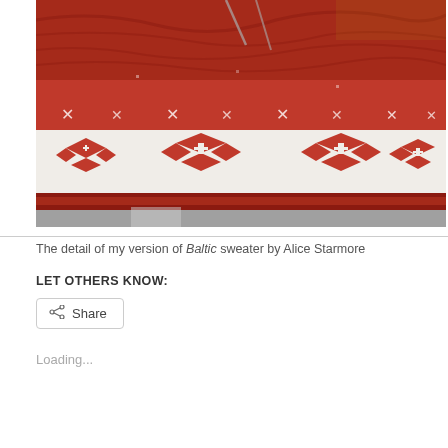[Figure (photo): Close-up photo of a red and white Fair Isle / stranded colorwork knitted sweater, showing geometric diamond and cross patterns. The garment is red with white pattern motifs. Knitting needles are visible at the top.]
The detail of my version of Baltic sweater by Alice Starmore
LET OTHERS KNOW:
Share
Loading...